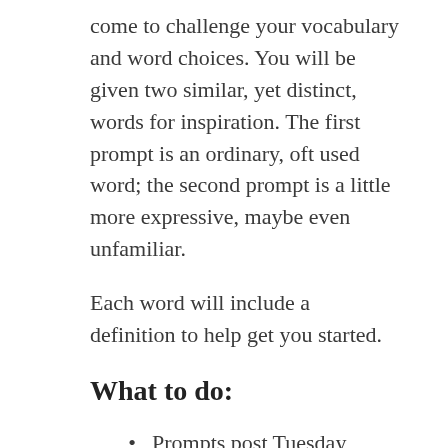come to challenge your vocabulary and word choices. You will be given two similar, yet distinct, words for inspiration. The first prompt is an ordinary, oft used word; the second prompt is a little more expressive, maybe even unfamiliar.
Each word will include a definition to help get you started.
What to do:
Prompts post Tuesday morning; entry deadline midnight Monday, CST (5 a.m. Sunday, GMT)
Write in any genre – fiction, memoir, poetry, horror, mystery, fantasy, romance, YA –